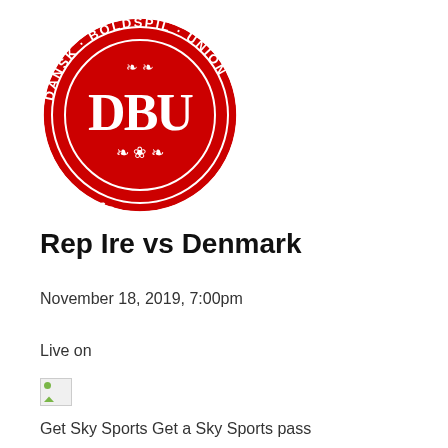[Figure (logo): DBU (Dansk Boldspil-Union) circular red logo with white text reading DANSK BOLDSPIL UNION and 1889, with DBU initials in large white letters in the center]
Rep Ire vs Denmark
November 18, 2019, 7:00pm
Live on
[Figure (photo): Broken/missing image placeholder icon]
Get Sky Sports Get a Sky Sports pass